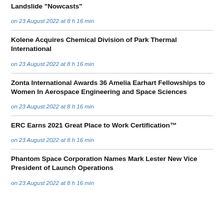Landslide "Nowcasts"
on 23 August 2022 at 8 h 16 min
Kolene Acquires Chemical Division of Park Thermal International
on 23 August 2022 at 8 h 16 min
Zonta International Awards 36 Amelia Earhart Fellowships to Women In Aerospace Engineering and Space Sciences
on 23 August 2022 at 8 h 16 min
ERC Earns 2021 Great Place to Work Certification™
on 23 August 2022 at 8 h 16 min
Phantom Space Corporation Names Mark Lester New Vice President of Launch Operations
on 23 August 2022 at 8 h 16 min